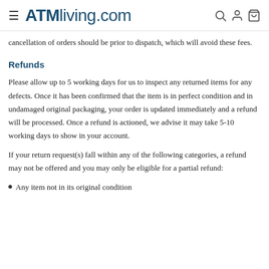ATMliving.com
cancellation of orders should be prior to dispatch, which will avoid these fees.
Refunds
Please allow up to 5 working days for us to inspect any returned items for any defects. Once it has been confirmed that the item is in perfect condition and in undamaged original packaging, your order is updated immediately and a refund will be processed. Once a refund is actioned, we advise it may take 5-10 working days to show in your account.
If your return request(s) fall within any of the following categories, a refund may not be offered and you may only be eligible for a partial refund:
Any item not in its original condition